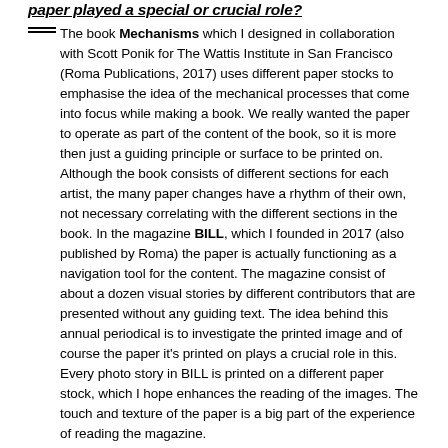paper played a special or crucial role?
The book Mechanisms which I designed in collaboration with Scott Ponik for The Wattis Institute in San Francisco (Roma Publications, 2017) uses different paper stocks to emphasise the idea of the mechanical processes that come into focus while making a book. We really wanted the paper to operate as part of the content of the book, so it is more then just a guiding principle or surface to be printed on. Although the book consists of different sections for each artist, the many paper changes have a rhythm of their own, not necessary correlating with the different sections in the book. In the magazine BILL, which I founded in 2017 (also published by Roma) the paper is actually functioning as a navigation tool for the content. The magazine consist of about a dozen visual stories by different contributors that are presented without any guiding text. The idea behind this annual periodical is to investigate the printed image and of course the paper it's printed on plays a crucial role in this. Every photo story in BILL is printed on a different paper stock, which I hope enhances the reading of the images. The touch and texture of the paper is a big part of the experience of reading the magazine.